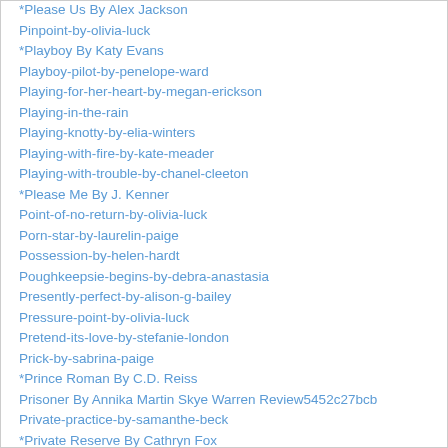*Please Us By Alex Jackson
Pinpoint-by-olivia-luck
*Playboy By Katy Evans
Playboy-pilot-by-penelope-ward
Playing-for-her-heart-by-megan-erickson
Playing-in-the-rain
Playing-knotty-by-elia-winters
Playing-with-fire-by-kate-meader
Playing-with-trouble-by-chanel-cleeton
*Please Me By J. Kenner
Point-of-no-return-by-olivia-luck
Porn-star-by-laurelin-paige
Possession-by-helen-hardt
Poughkeepsie-begins-by-debra-anastasia
Presently-perfect-by-alison-g-bailey
Pressure-point-by-olivia-luck
Pretend-its-love-by-stefanie-london
Prick-by-sabrina-paige
*Prince Roman By C.D. Reiss
Prisoner By Annika Martin Skye Warren Review5452c27bcb
Private-practice-by-samanthe-beck
*Private Reserve By Cathryn Fox